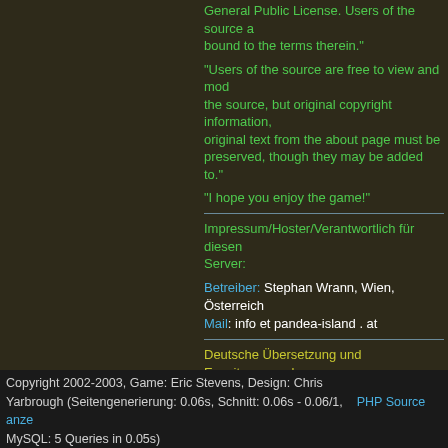General Public License. Users of the source are bound to the terms therein.
"Users of the source are free to view and modify the source, but original copyright information, original text from the about page must be preserved, though they may be added to."
"I hope you enjoy the game!"
Impressum/Hoster/Verantwortlich für diesen Server:
Betreiber: Stephan Wrann, Wien, Österreich
Mail: info et pandea-island . at
Deutsche Übersetzung und Erweiterungen by anpera, Angel, Morpheus und Aragon. Weitere Übersetzungen, Hilfe und andere Dinge by: Wolfblade,nTE, weasel und theklaus Manwe für intensives Testen! Für Monster, Waffen, Rüstungen und Flüche danke ich: leopolt, Reandor und theklaus Außerdem ein großes Lob an die Macher und User von DragonPrime Und zum Schluss noch ein dickes Danke an MightyE für dieses großartige Spiel!
Copyright 2002-2003, Game: Eric Stevens, Design: Chris Yarbrough (Seitengenerierung: 0.06s, Schnitt: 0.06s - 0.06/1,    PHP Source anzeigen
MySQL: 5 Queries in 0.05s)
Version: 0.9.7+jt ext (GER) Pandea Island Edition